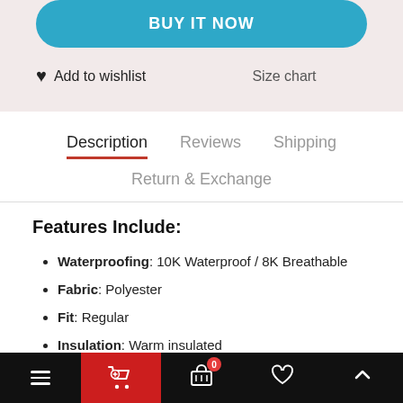BUY IT NOW
Add to wishlist   Size chart
Description  Reviews  Shipping  Return & Exchange
Features Include:
Waterproofing: 10K Waterproof / 8K Breathable
Fabric: Polyester
Fit: Regular
Insulation: Warm insulated
Seams: Critically taped seams
Navigation bar with: menu, cart, basket (0), wishlist, scroll-up